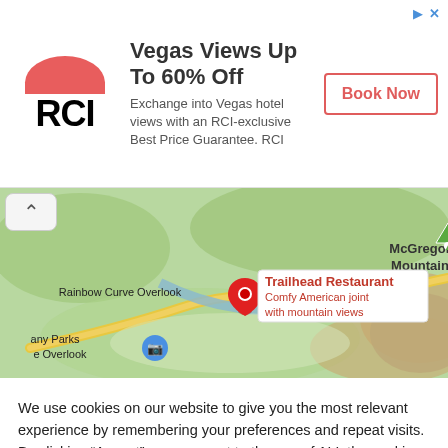[Figure (screenshot): RCI advertisement banner: logo with red half-circle above 'RCI' text, headline 'Vegas Views Up To 60% Off', description 'Exchange into Vegas hotel views with an RCI-exclusive Best Price Guarantee. RCI', and a 'Book Now' button with red border.]
[Figure (map): Google Maps screenshot showing area with McGregor Mountain, The Needles, Rainbow Curve Overlook, Many Parks Overlook, Notchtop Ba... labels. A red pin marks Trailhead Restaurant with tooltip 'Comfy American joint with mountain views'. Green mountain icons visible.]
We use cookies on our website to give you the most relevant experience by remembering your preferences and repeat visits. By clicking “Accept”, you consent to the use of ALL the cookies.
Do not sell my personal information.
Cookie Settings
Accept